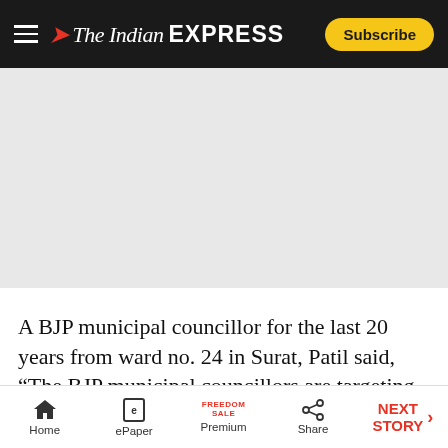The Indian EXPRESS — Subscribe
[Figure (other): Grey advertisement placeholder area]
A BJP municipal councillor for the last 20 years from ward no. 24 in Surat, Patil said, “The BJP municipal councillors are targeting me personally by making representations to municipal
Home | ePaper | Premium (FREEDOM SALE) | Share | NEXT STORY